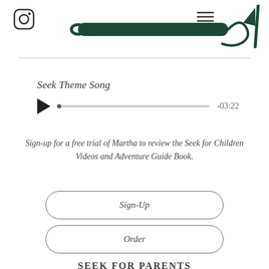[Figure (illustration): Instagram icon (rounded square with circle inside) in top left corner]
[Figure (illustration): Hamburger menu icon (three horizontal lines) in top right area]
[Figure (illustration): Green sled/toboggan illustration with rope handle curled at end, dark green color]
Seek Theme Song
[Figure (other): Audio player with play button triangle, progress bar with dot at start, and time label -03:22]
Sign-up for a free trial of Martha to review the Seek for Children Videos and Adventure Guide Book.
[Figure (other): Sign-Up button with rounded pill border]
[Figure (other): Order button with rounded pill border]
SEEK FOR PARENTS